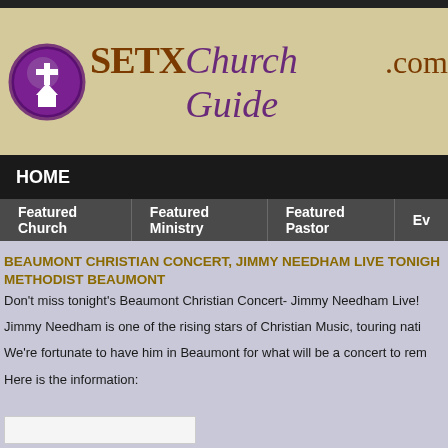[Figure (logo): SETXChurchGuide.com logo with purple cross circle icon and stylized text]
HOME
Featured Church | Featured Ministry | Featured Pastor | Ev...
BEAUMONT CHRISTIAN CONCERT, JIMMY NEEDHAM LIVE TONIGHT METHODIST BEAUMONT
Don't miss tonight's Beaumont Christian Concert- Jimmy Needham Live!
Jimmy Needham is one of the rising stars of Christian Music, touring nati...
We're fortunate to have him in Beaumont for what will be a concert to rem...
Here is the information: